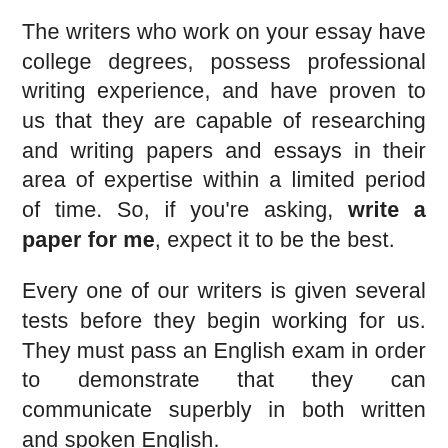The writers who work on your essay have college degrees, possess professional writing experience, and have proven to us that they are capable of researching and writing papers and essays in their area of expertise within a limited period of time. So, if you're asking, write a paper for me, expect it to be the best.
Every one of our writers is given several tests before they begin working for us. They must pass an English exam in order to demonstrate that they can communicate superbly in both written and spoken English.
They must pass an intense writing test. They also must complete a research assignment including a works-cited page successfully before they are allowed to write for our customers.